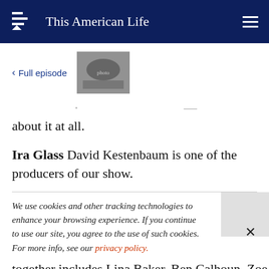This American Life
< Full episode
[Figure (photo): Black and white thumbnail photo of group of people]
about it at all.
Ira Glass David Kestenbaum is one of the producers of our show.
We use cookies and other tracking technologies to enhance your browsing experience. If you continue to use our site, you agree to the use of such cookies. For more info, see our privacy policy.
together includes Lina Baker, Ben Calhoun, Zoe